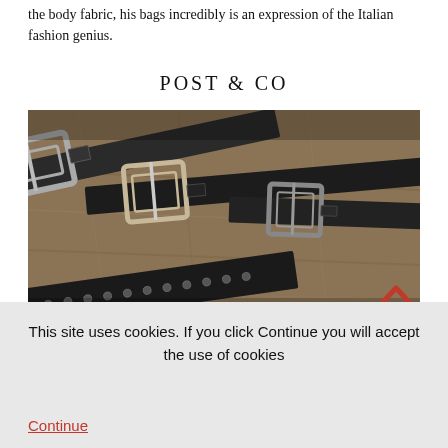the body fabric, his bags incredibly is an expression of the Italian fashion genius.
POST & CO
[Figure (photo): Three dark leather belts with metal buckles laid on a wooden surface. The leftmost belt has studded detailing. A red chevron/arrow icon appears in the lower right corner of the image.]
This site uses cookies. If you click Continue you will accept the use of cookies
Continue